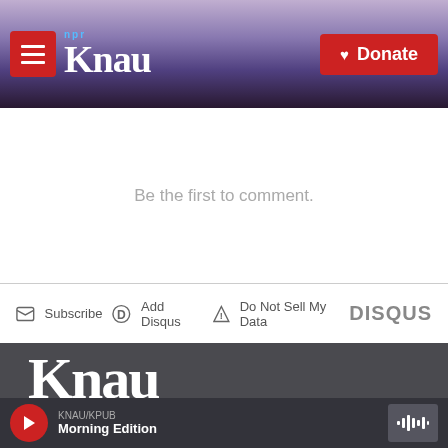KNAU NPR - Donate
Be the first to comment.
Subscribe | Add Disqus | Do Not Sell My Data | DISQUS
[Figure (logo): KNAU white logo on dark footer]
Stay Connected
[Figure (illustration): Twitter and Facebook social media icon buttons]
KNAU/KPUB Morning Edition